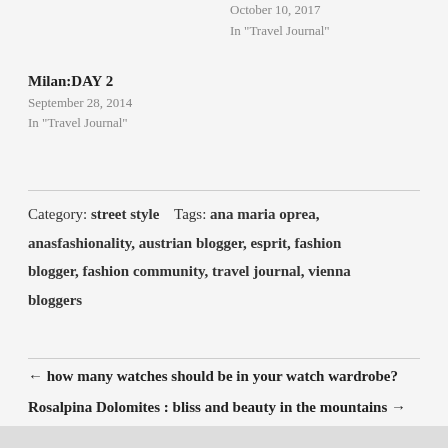October 10, 2017
In "Travel Journal"
Milan: DAY 2
September 28, 2014
In "Travel Journal"
Category: street style     Tags: ana maria oprea, anasfashionality, austrian blogger, esprit, fashion blogger, fashion community, travel journal, vienna bloggers
← how many watches should be in your watch wardrobe?
Rosalpina Dolomites : bliss and beauty in the mountains →